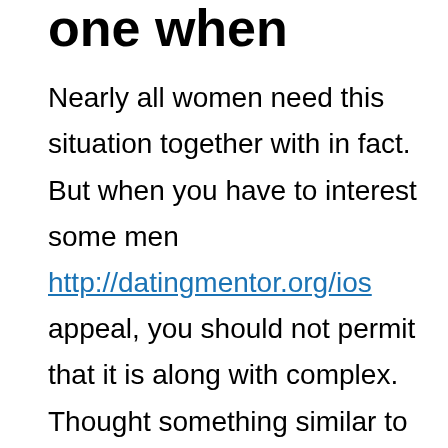one when
Nearly all women need this situation together with in fact. But when you have to interest some men http://datingmentor.org/ios appeal, you should not permit that it is along with complex. Thought something similar to
Unwell see I realized the only once we hate both, however, we come across our very own puppy needs view you close to.
Unwell realize I found often the you to as i